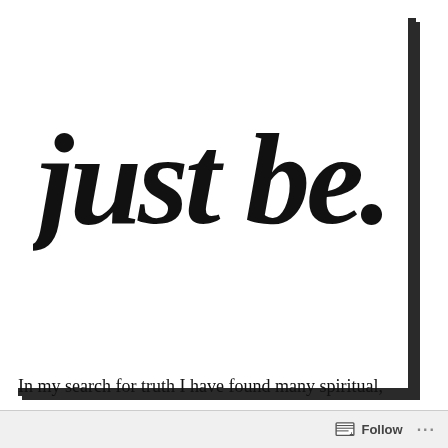[Figure (illustration): A white square card with thick dark border on the right and bottom edges showing the cursive/script text 'just be.' in large bold black lettering against a white background.]
In my search for truth I have found many spiritual,
Follow ···